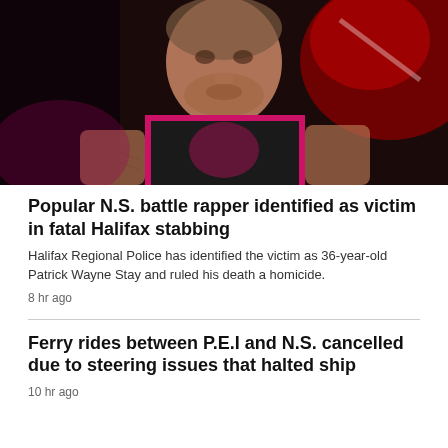[Figure (photo): A man with tattoos wearing a black and pink basketball jersey (Raptors), photographed in low light with a red-lit background. He appears to be at an event or performance.]
Popular N.S. battle rapper identified as victim in fatal Halifax stabbing
Halifax Regional Police has identified the victim as 36-year-old Patrick Wayne Stay and ruled his death a homicide.
8 hr ago
Ferry rides between P.E.I and N.S. cancelled due to steering issues that halted ship
10 hr ago